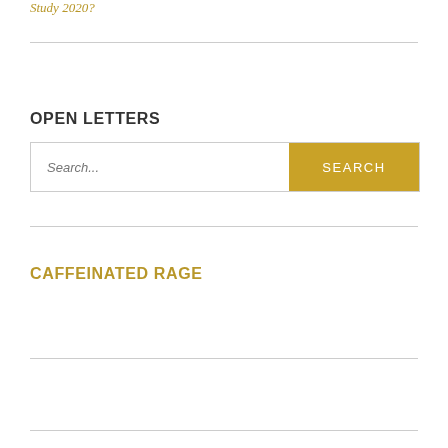Study 2020?
OPEN LETTERS
Search...
CAFFEINATED RAGE